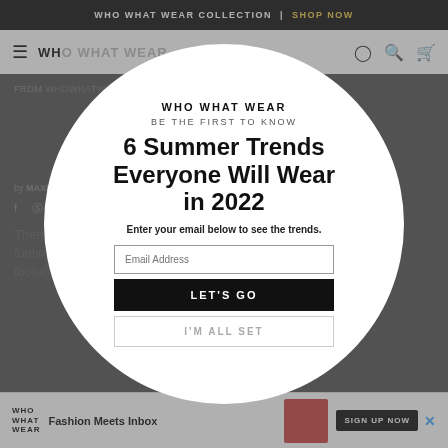WHO WHAT WEAR COLLECTION | SHOP NOW
[Figure (screenshot): Who What Wear website navigation bar with hamburger menu, logo, search and cart icons]
FROM WHOWHATWEAR.CO.UK
Everything You Need to Know About Amina Muaddi and Her Shoes
by MAXINE EGGENBERGER
[Figure (infographic): Who What Wear modal popup with circular shape containing newsletter signup form. Title: '6 Summer Trends Everyone Will Wear in 2022'. Subtitle: 'BE THE FIRST TO KNOW'. Description: 'Enter your email below to see the trends.' Email input field, LET'S GO button, I'M ALL SET button.]
There haven't been many celebrities to emulate footwear ... and I
WHO WHAT WEAR — Fashion Meets Inbox — SIGN UP NOW